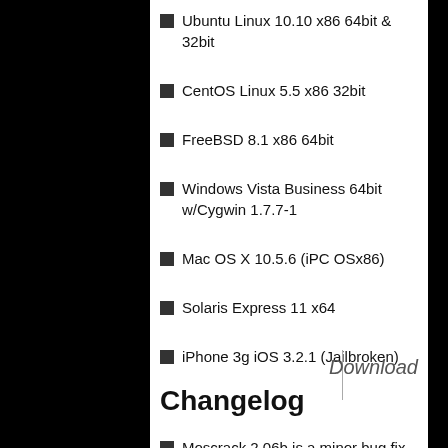Ubuntu Linux 10.10 x86 64bit & 32bit
CentOS Linux 5.5 x86 32bit
FreeBSD 8.1 x86 64bit
Windows Vista Business 64bit w/Cygwin 1.7.7-1
Mac OS X 10.5.6 (iPC OSx86)
Solaris Express 11 x64
iPhone 3g iOS 3.2.1 (Jailbroken)
Changelog
Moscrack 2.06b is a minor bug fix release for 2.05b. See release-notes.txt
Tags: Cracking, Moscrack, Password Cracking, WPA Cracker
Download